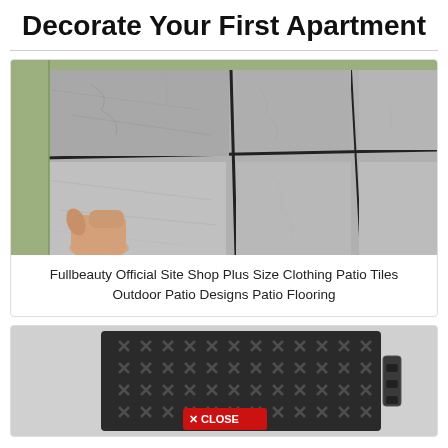Decorate Your First Apartment
[Figure (photo): A hand placing or lifting a grey slate-look patio tile, with multiple tiles laid on green artificial grass visible in the background.]
Fullbeauty Official Site Shop Plus Size Clothing Patio Tiles Outdoor Patio Designs Patio Flooring
[Figure (photo): A black plastic interlocking deck/patio tile with a grid pattern of X-shaped cutouts, shown on a light grey background, with a red CLOSE button overlay at the bottom center.]